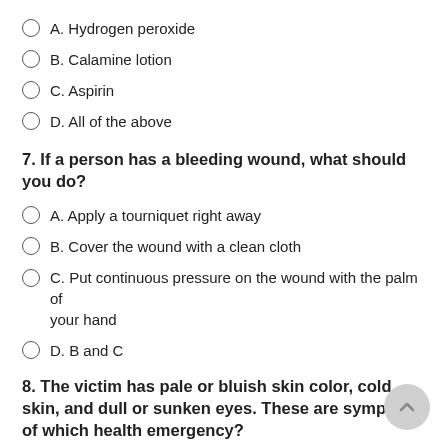A. Hydrogen peroxide
B. Calamine lotion
C. Aspirin
D. All of the above
7. If a person has a bleeding wound, what should you do?
A. Apply a tourniquet right away
B. Cover the wound with a clean cloth
C. Put continuous pressure on the wound with the palm of your hand
D. B and C
8. The victim has pale or bluish skin color, cold skin, and dull or sunken eyes. These are symptoms of which health emergency?
A. High fever